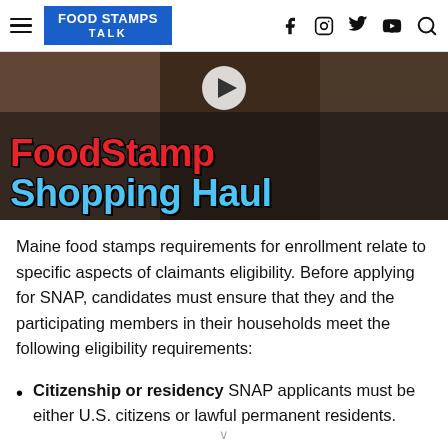FOOD STAMPS TALK
[Figure (photo): Video thumbnail showing a person with food items and text overlay 'FoodStamp Shopping Haul' in red and blue bold lettering on dark background]
Maine food stamps requirements for enrollment relate to specific aspects of claimants eligibility. Before applying for SNAP, candidates must ensure that they and the participating members in their households meet the following eligibility requirements:
Citizenship or residency SNAP applicants must be either U.S. citizens or lawful permanent residents.